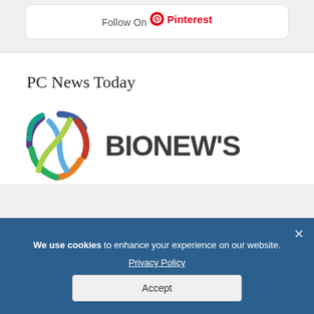[Figure (screenshot): Follow On Pinterest button/badge inside a white rounded card]
PC News Today
[Figure (logo): BioNews logo with colorful globe/gear icon and BIONEWS text in dark gray bold]
We use cookies to enhance your experience on our website. Privacy Policy Accept